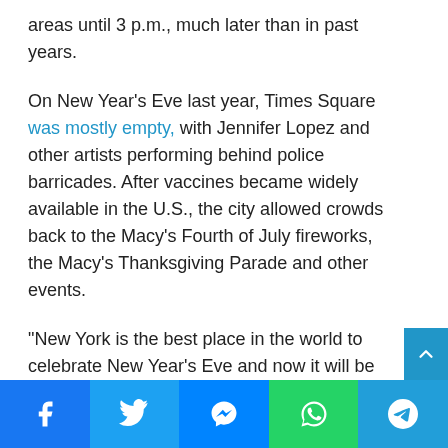areas until 3 p.m., much later than in past years.
On New Year's Eve last year, Times Square was mostly empty, with Jennifer Lopez and other artists performing behind police barricades. After vaccines became widely available in the U.S., the city allowed crowds back to the Macy's Fourth of July fireworks, the Macy's Thanksgiving Parade and other events.
“New York is the best place in the world to celebrate New Year’s Eve and now it will be one of the safest against COVID as well,” Mayor-elect Eric Adams said in a written statement endorsing the new precautions. “New Yorkers and visitors alike can now enjoy Times Square and the rest of our city as we ring in 2022.”
Social share buttons: Facebook, Twitter, Messenger, WhatsApp, Telegram